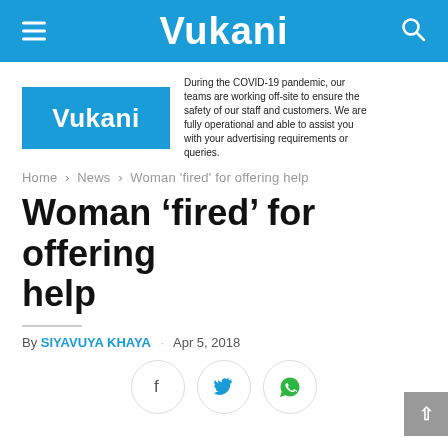Vukani
[Figure (logo): Vukani logo with COVID-19 notice: During the COVID-19 pandemic, our teams are working off-site to ensure the safety of our staff and customers. We are fully operational and able to assist you with your advertising requirements or queries.]
Home > News > Woman 'fired' for offering help
Woman ‘fired’ for offering help
By SIYAVUYA KHAYA · Apr 5, 2018